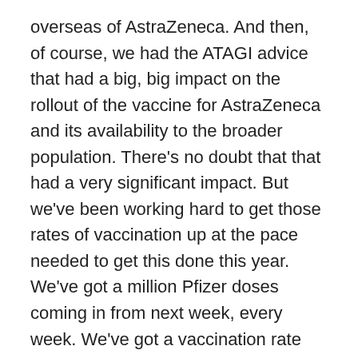overseas of AstraZeneca. And then, of course, we had the ATAGI advice that had a big, big impact on the rollout of the vaccine for AstraZeneca and its availability to the broader population. There's no doubt that that had a very significant impact. But we've been working hard to get those rates of vaccination up at the pace needed to get this done this year. We've got a million Pfizer doses coming in from next week, every week. We've got a vaccination rate running at almost a million a week now, and those numbers have continued to rise. I mean, if you go back a while ago, what we were doing in March, we did 769,000. That jumped to 1.4 million in April, 2.1 million in May, 3.4 million in June. And we're looking to get over four million in July. And those numbers will keep rising. And that means by the end of the year, everyone who was seeking to get a vaccine, we believe should have had that opportunity. And that would put